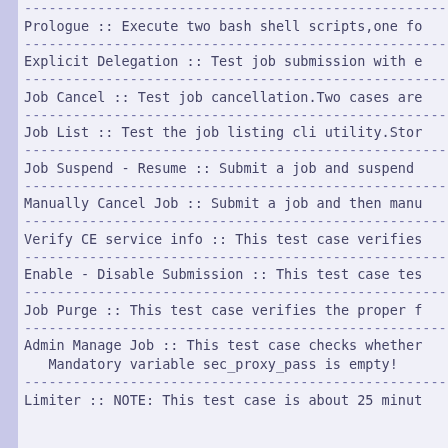Prologue :: Execute two bash shell scripts,one fo
Explicit Delegation :: Test job submission with e
Job Cancel :: Test job cancellation.Two cases are
Job List :: Test the job listing cli utility.Stor
Job Suspend - Resume :: Submit a job and suspend
Manually Cancel Job :: Submit a job and then manu
Verify CE service info :: This test case verifies
Enable - Disable Submission :: This test case tes
Job Purge :: This test case verifies the proper f
Admin Manage Job :: This test case checks whether Mandatory variable sec_proxy_pass is empty!
Limiter :: NOTE: This test case is about 25 minut